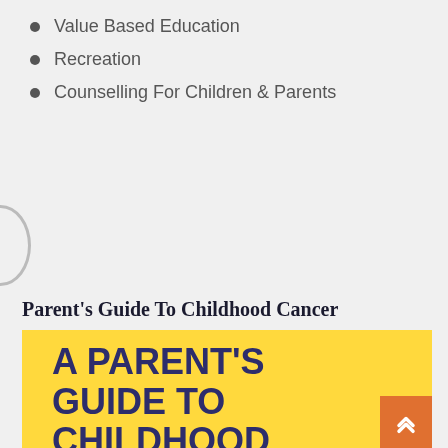Value Based Education
Recreation
Counselling For Children & Parents
Parent's Guide To Childhood Cancer
[Figure (illustration): A Parent's Guide to Childhood Cancer book cover with yellow background and dark blue bold text. An orange arrow-up button appears at bottom right.]